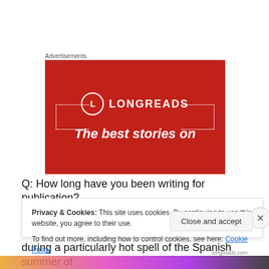Advertisements
[Figure (illustration): Longreads advertisement banner — red background with circle logo containing 'L', 'LONGREADS' text, decorative bracket lines on left and right, and tagline 'The best stories on']
Q: How long have you been writing for publication?
TN: The first Horatio Horseblanket short story was written during a particularly hot spell of the Spanish summer of
Privacy & Cookies: This site uses cookies. By continuing to use this website, you agree to their use.
To find out more, including how to control cookies, see here: Cookie Policy
Close and accept